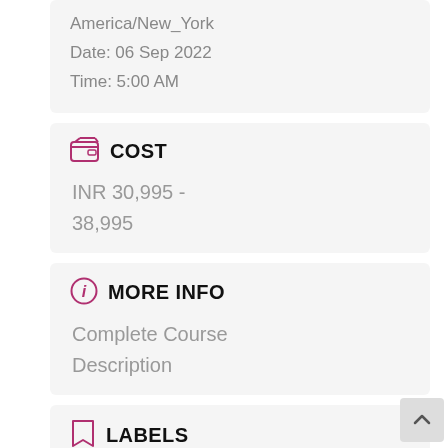America/New_York
Date: 06 Sep 2022
Time: 5:00 AM
COST
INR 30,995 - 38,995
MORE INFO
Complete Course Description
LABELS
AFTERNOON, TUE THU SAT, Weekday Batch